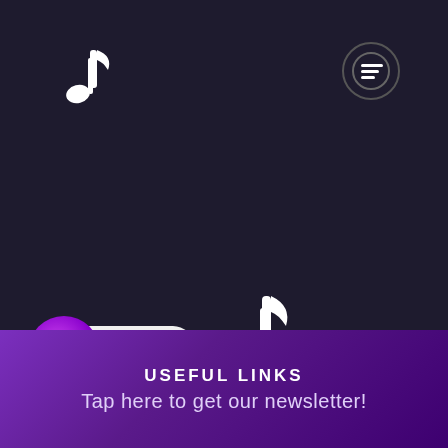[Figure (illustration): White music note icon in top left corner of dark background]
[Figure (illustration): Circular menu/hamburger button icon in top right]
[Figure (illustration): White music note icon in center-lower area]
Need any help?
[Figure (illustration): Purple circular chat bubble icon with speech bubble symbol]
USEFUL LINKS
Tap here to get our newsletter!